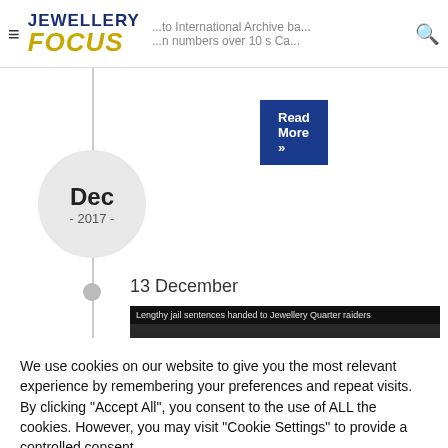Jewellery Focus
Read More »
Dec - 2017 -
13 December
[Figure (screenshot): Video thumbnail showing 'Lengthy jail sentences handed to Jewellery Quarter raiders' dated 06-01-2016 12:29]
We use cookies on our website to give you the most relevant experience by remembering your preferences and repeat visits. By clicking "Accept All", you consent to the use of ALL the cookies. However, you may visit "Cookie Settings" to provide a controlled consent.
Cookie Settings
Accept All